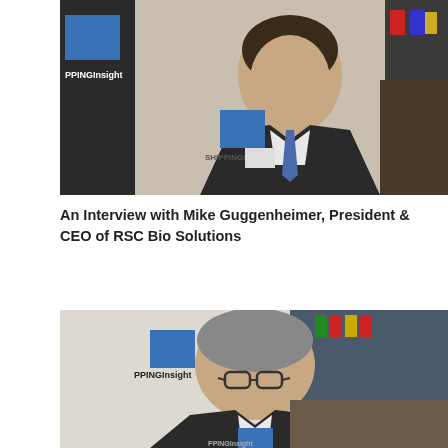[Figure (photo): Man in dark suit with blue tie at a ShippingInsight conference event, ShippingInsight logo visible in background]
An Interview with Mike Guggenheimer, President & CEO of RSC Bio Solutions
[Figure (photo): Man with glasses and grey hair at a ShippingInsight conference event, ShippingInsight logo visible in background]